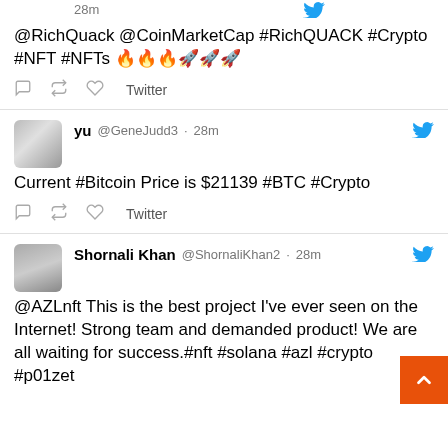28m
@RichQuack @CoinMarketCap #RichQUACK #Crypto #NFT #NFTs 🔥🔥🔥🚀🚀🚀
Twitter
yu @GeneJudd3 · 28m
Current #Bitcoin Price is $21139 #BTC #Crypto
Twitter
Shornali Khan @ShornaliKhan2 · 28m
@AZLnft This is the best project I've ever seen on the Internet! Strong team and demanded product! We are all waiting for success.#nft #solana #azl #crypto #p01zet